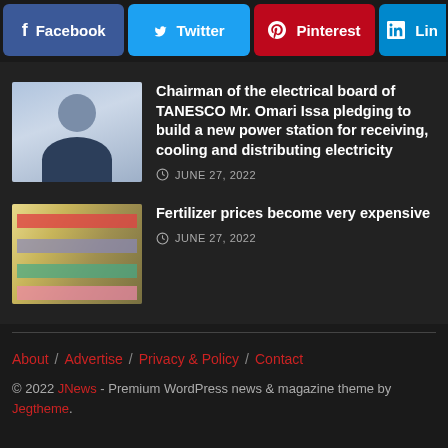[Figure (screenshot): Social media share buttons: Facebook (blue), Twitter (light blue), Pinterest (red), LinkedIn (blue, partially cut off)]
[Figure (photo): Thumbnail photo of a man in a suit, likely Mr. Omari Issa, against a light blue background]
Chairman of the electrical board of TANESCO Mr. Omari Issa pledging to build a new power station for receiving, cooling and distributing electricity
JUNE 27, 2022
[Figure (photo): Thumbnail photo of store shelves with products, related to fertilizer/grocery store]
Fertilizer prices become very expensive
JUNE 27, 2022
About / Advertise / Privacy & Policy / Contact
© 2022 JNews - Premium WordPress news & magazine theme by Jegtheme.